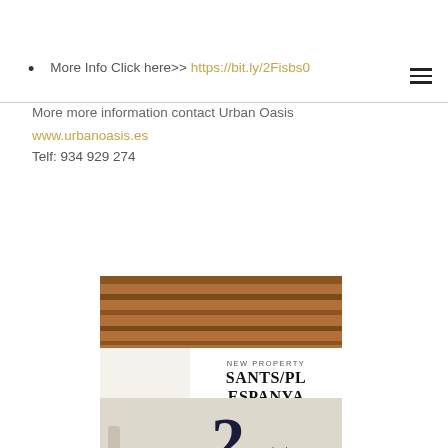More Info Click here>> https://bit.ly/2Fisbs0
More more information contact Urban Oasis
www.urbanoasis.es
Telf: 934 929 274
[Figure (photo): Property listing image showing wooden beam ceiling interior with overlay text: NEW PROPERTY SANTS/PL ESPANYA, 2 bedrooms]
POWERED BY weebly